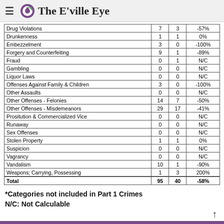The E'ville Eye
|  |  |  |  |
| --- | --- | --- | --- |
| Drug Violations | 7 | 3 | -57% |
| Drunkenness | 1 | 1 | 0% |
| Embezzelment | 3 | 0 | -100% |
| Forgery and Counterfeiting | 9 | 1 | -89% |
| Fraud | 0 | 1 | N/C |
| Gambling | 0 | 0 | N/C |
| Liquor Laws | 0 | 0 | N/C |
| Offenses Against Family & Children | 3 | 0 | -100% |
| Other Assaults | 0 | 0 | N/C |
| Other Offenses - Felonies | 14 | 7 | -50% |
| Other Offenses - Misdemeanors | 29 | 17 | -41% |
| Prositution & Commercialized Vice | 0 | 0 | N/C |
| Runaway | 0 | 0 | N/C |
| Sex Offenses | 0 | 0 | N/C |
| Stolen Property | 1 | 1 | 0% |
| Suspicion | 0 | 0 | N/C |
| Vagrancy | 0 | 0 | N/C |
| Vandalism | 10 | 1 | -90% |
| Weapons; Carrying, Possessing | 1 | 3 | 200% |
| Total | 95 | 40 | -58% |
*Categories not included in Part 1 Crimes
N/C: Not Calculable